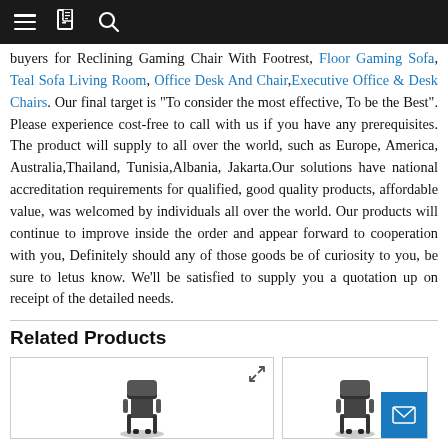navigation bar with hamburger menu, document icon, and search icon
buyers for Reclining Gaming Chair With Footrest, Floor Gaming Sofa, Teal Sofa Living Room, Office Desk And Chair,Executive Office & Desk Chairs. Our final target is "To consider the most effective, To be the Best". Please experience cost-free to call with us if you have any prerequisites. The product will supply to all over the world, such as Europe, America, Australia,Thailand, Tunisia,Albania, Jakarta.Our solutions have national accreditation requirements for qualified, good quality products, affordable value, was welcomed by individuals all over the world. Our products will continue to improve inside the order and appear forward to cooperation with you, Definitely should any of those goods be of curiosity to you, be sure to letus know. We'll be satisfied to supply you a quotation up on receipt of the detailed needs.
Related Products
[Figure (photo): Two product cards showing gaming/office chairs in a related products section]